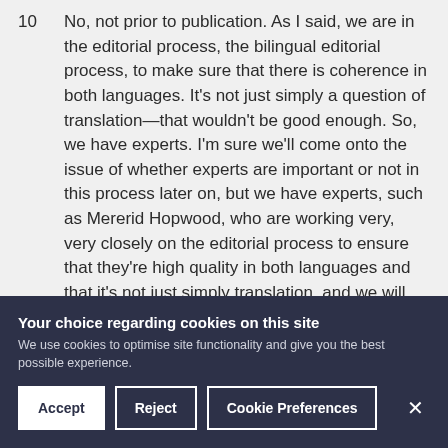10  No, not prior to publication. As I said, we are in the editorial process, the bilingual editorial process, to make sure that there is coherence in both languages. It's not just simply a question of translation—that wouldn't be good enough. So, we have experts. I'm sure we'll come onto the issue of whether experts are important or not in this process later on, but we have experts, such as Mererid Hopwood, who are working very, very closely on the editorial process to ensure that they're high quality in both languages and that it's not just simply translation, and we will have those available. The feedback comes after April
Your choice regarding cookies on this site
We use cookies to optimise site functionality and give you the best possible experience.